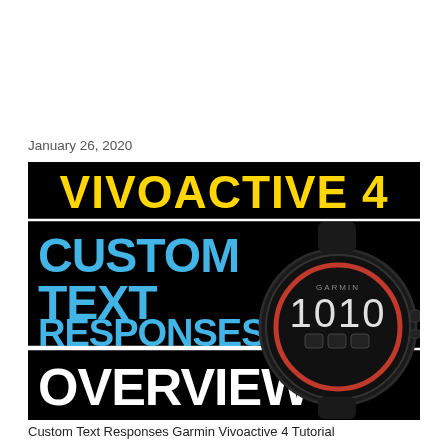January 26, 2020
[Figure (illustration): Promotional thumbnail image for a Garmin Vivoactive 4 tutorial. Black background with 'VIVOACTIVE 4' in large bold yellow text at the top, 'CUSTOM TEXT RESPONSES' in large bold blue text in the middle-left, 'OVERVIEW' in large bold white text at the bottom-left, and a photo of a Garmin Vivoactive 4 smartwatch on the right side showing a black watch face with '1010' displayed and a red ring.]
Custom Text Responses Garmin Vivoactive 4 Tutorial